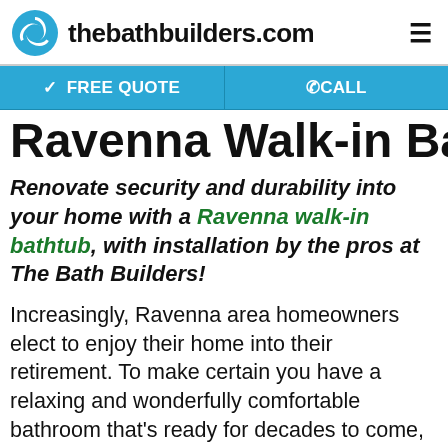thebathbuilders.com
Ravenna Walk-in Bathtubs
Renovate security and durability into your home with a Ravenna walk-in bathtub, with installation by the pros at The Bath Builders!
Increasingly, Ravenna area homeowners elect to enjoy their home into their retirement. To make certain you have a relaxing and wonderfully comfortable bathroom that's ready for decades to come, top quality walk-in tubs are an obvious choice! Just like a mix of a spa and